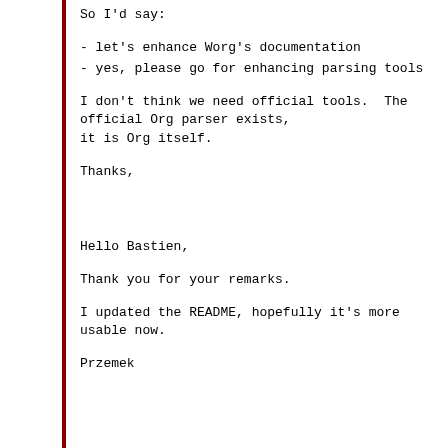So I'd say:
- let's enhance Worg's documentation
- yes, please go for enhancing parsing tools
I don't think we need official tools.  The official Org parser exists,
it is Org itself.
Thanks,
Hello Bastien,
Thank you for your remarks.
I updated the README, hopefully it's more usable now.
Przemek